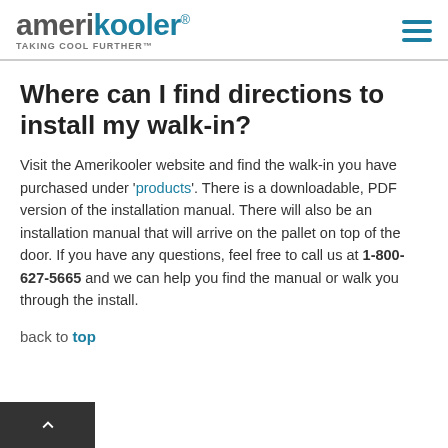amerikooler® TAKING COOL FURTHER™
Where can I find directions to install my walk-in?
Visit the Amerikooler website and find the walk-in you have purchased under 'products'. There is a downloadable, PDF version of the installation manual. There will also be an installation manual that will arrive on the pallet on top of the door. If you have any questions, feel free to call us at 1-800-627-5665 and we can help you find the manual or walk you through the install.
back to top